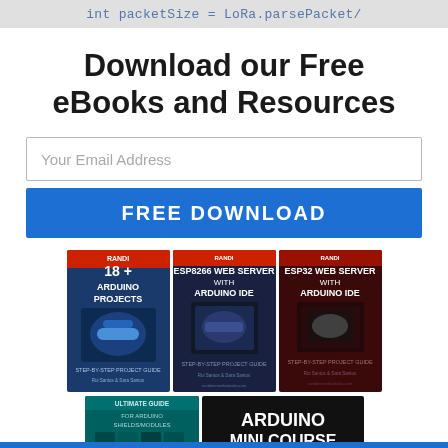int packetSize = LoRa.parsePacket/
Download our Free eBooks and Resources
Your Email Address
FREE DOWNLOAD
[Figure (illustration): Three eBook covers: '18+ Arduino Projects', 'ESP8266 Web Server with Arduino IDE', 'ESP32 Web Server with Arduino IDE', plus two more books: 'Ultimate Guide for Arduino Shield/Modules' and 'Arduino Mini Course']